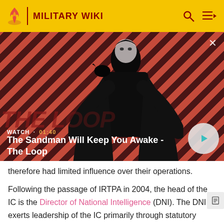MILITARY WIKI
[Figure (screenshot): Video thumbnail showing a dark-clad figure with a raven on their shoulder against a red diagonal striped background. Shows 'WATCH · 01:40' label and title 'The Sandman Will Keep You Awake - The Loop' with a play button.]
therefore had limited influence over their operations.
Following the passage of IRTPA in 2004, the head of the IC is the Director of National Intelligence (DNI). The DNI exerts leadership of the IC primarily through statutory authorities under which he or she: